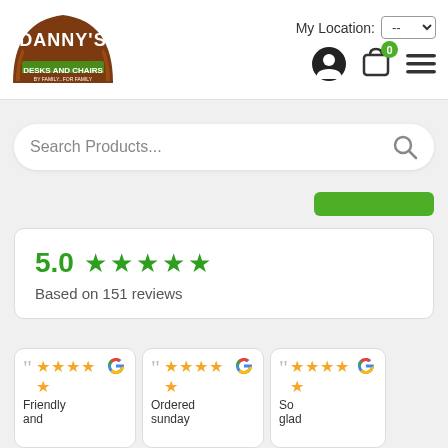[Figure (logo): Danny's Desks and Chairs logo — brown arch badge with white text DANNY'S and green text DESKS and CHAIRS]
My Location: --
[Figure (screenshot): User account icon, shopping cart icon with 0 badge, hamburger menu icon]
Search Products...
5.0 ★★★★★
Based on 151 reviews
Friendly and
Ordered sunday
So glad